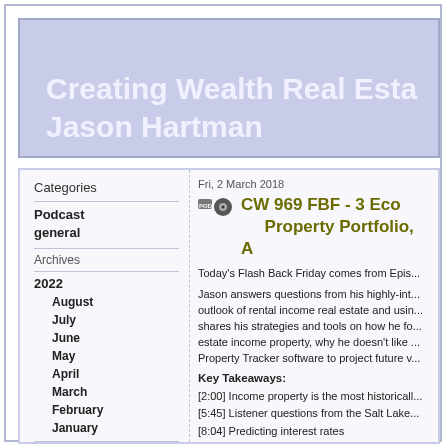Creating Wealth Real Estate with Jason Hartman
Categories
Podcast general
Archives
2022
August
July
June
May
April
March
February
January
2021
December
Fri, 2 March 2018
CW 969 FBF - 3 Eco... Property Portfolio, A...
Today's Flash Back Friday comes from Epis...
Jason answers questions from his highly-int... outlook of rental income real estate and usin... shares his strategies and tools on how he fo... estate income property, why he doesn't like ... Property Tracker software to project future v...
Key Takeaways:
[2:00] Income property is the most historicall...
[5:45] Listener questions from the Salt Lake...
[8:04] Predicting interest rates
[9:38] Advantages to the suburban market i...
[12:22] Stress testing your portfolio